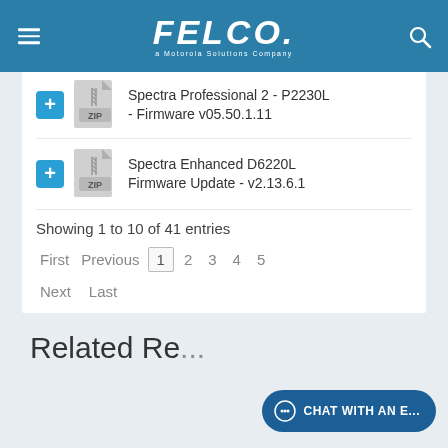[Figure (logo): FELCO logo - a Motorola Solutions Company, white text on teal/blue header background]
Spectra Professional 2 - P2230L - Firmware v05.50.1.11
Spectra Enhanced D6220L Firmware Update - v2.13.6.1
Showing 1 to 10 of 41 entries
First  Previous  1  2  3  4  5  Next  Last
Related Re...
CHAT WITH AN E...